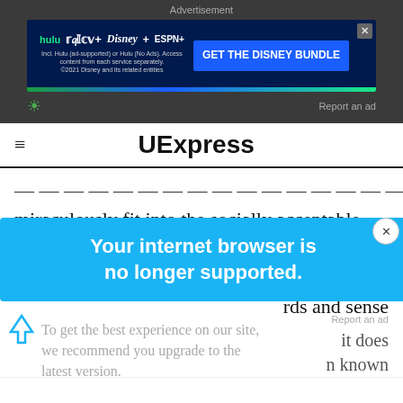Advertisement
[Figure (screenshot): Disney Bundle advertisement banner with Hulu, Disney+, ESPN+ logos and 'GET THE DISNEY BUNDLE' call-to-action button. Dark blue background with green/blue stripe accent.]
Report an ad
UExpress
miraculously fit into the socially acceptable world,
d changed. I
rds and sense
Your internet browser is no longer supported.
To get the best experience on our site, we recommend you upgrade to the latest version.
Report an ad
It does
n known